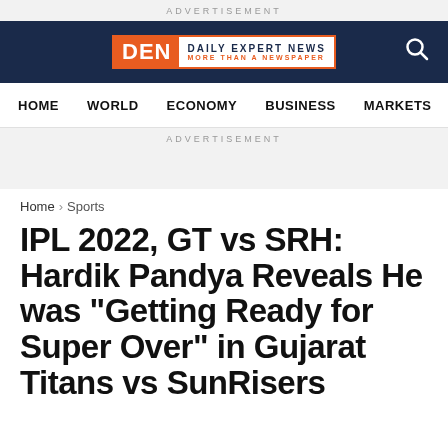ADVERTISEMENT
[Figure (logo): DEN Daily Expert News logo on dark navy header bar with search icon]
HOME   WORLD   ECONOMY   BUSINESS   MARKETS
ADVERTISEMENT
Home > Sports
IPL 2022, GT vs SRH: Hardik Pandya Reveals He was “Getting Ready for Super Over” in Gujarat Titans vs SunRisers